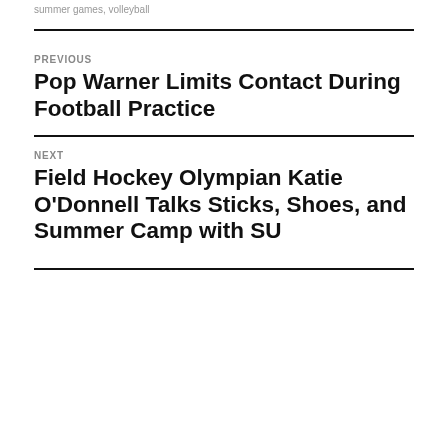summer games, volleyball
PREVIOUS
Pop Warner Limits Contact During Football Practice
NEXT
Field Hockey Olympian Katie O'Donnell Talks Sticks, Shoes, and Summer Camp with SU